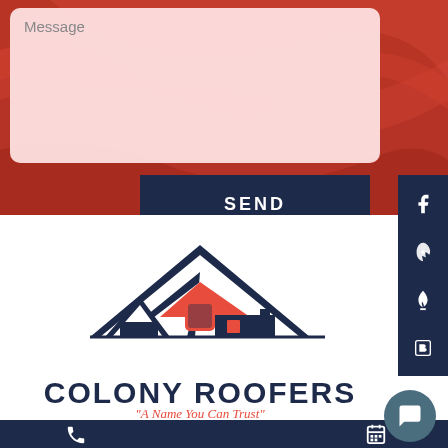[Figure (screenshot): Message text area input field with placeholder text 'Message' on a red swirled background]
SEND
[Figure (logo): Colony Roofers logo with two house roof silhouettes in navy and red]
COLONY ROOFERS
"A Name You Can Trust"
[Figure (infographic): Bottom navigation bar with phone icon and calendar icon, plus social media sidebar with Facebook, Yelp, flame, and blog icons]